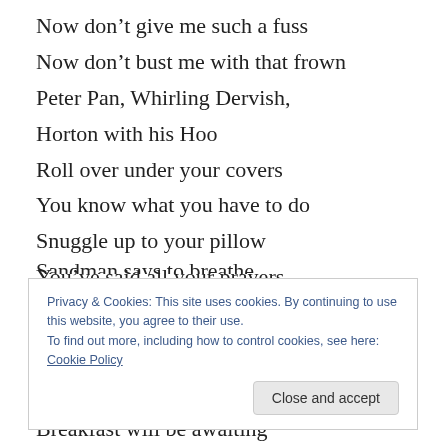Now don't give me such a fuss
Now don't bust me with that frown
Peter Pan, Whirling Dervish,
Horton with his Hoo
Roll over under your covers
You know what you have to do
Snuggle up to your pillow
You've said all your prayers
Sling away you fears
Drop away all those cares
Sandman says to breathe
Privacy & Cookies: This site uses cookies. By continuing to use this website, you agree to their use.
To find out more, including how to control cookies, see here: Cookie Policy
Breakfast will be awaiting